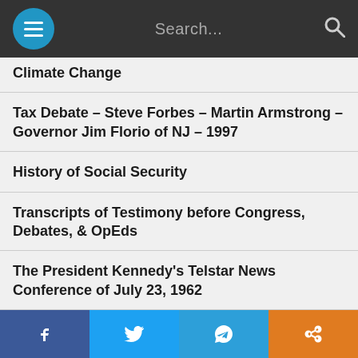Search...
Climate Change
Tax Debate – Steve Forbes – Martin Armstrong – Governor Jim Florio of NJ – 1997
History of Social Security
Transcripts of Testimony before Congress, Debates, & OpEds
The President Kennedy's Telstar News Conference of July 23, 1962
The History of Gold
History of Panics – The force of Creative Destruction
Financial Panics of the World
Heinrich Schliemann
Facebook | Twitter | Telegram | Share